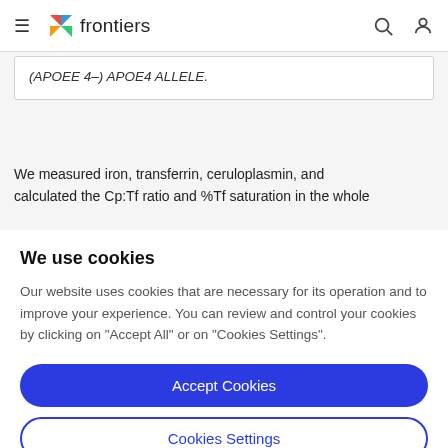frontiers
(APOEE 4–) APOE4 ALLELE.
We measured iron, transferrin, ceruloplasmin, and calculated the Cp:Tf ratio and %Tf saturation in the whole
We use cookies
Our website uses cookies that are necessary for its operation and to improve your experience. You can review and control your cookies by clicking on "Accept All" or on "Cookies Settings".
Accept Cookies
Cookies Settings